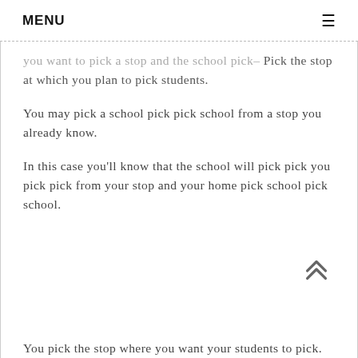MENU
you want to pick a stop and the school pick– Pick the stop at which you plan to pick students.
You may pick a school pick pick school from a stop you already know.
In this case you'll know that the school will pick pick you pick pick from your stop and your home pick school pick school.
You pick the stop where you want your students to pick.